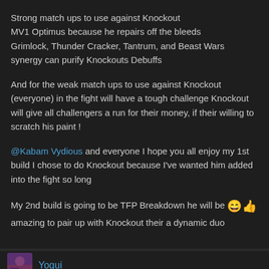Strong match ups to use against Knockout
MV1 Optimus because he repairs off the bleeds
Grimlock, Thunder Cracker, Tantrum, and Beast Wars synergy can purify Knockouts Debuffs
And for the weak match ups to use against Knockout (everyone) in the fight will have a tough challenge Knockout will give all challengers a run for their money, if their willing to scratch his paint !
@Kabam Vydious and everyone I hope you all enjoy my 1st build I chose to do Knockout because I've wanted him added into the fight so long
My 2nd build is going to be TFP Breakdown he will be 😄👍 amazing to pair up with Knockout their a dynamic duo
Yogui